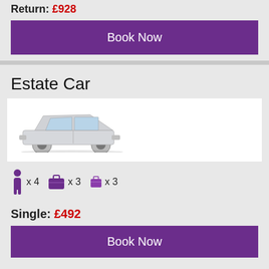Return: £928
Book Now
Estate Car
[Figure (photo): Silver/white estate car viewed from the side]
x 4  x 3  x 3
Single: £492
Book Now